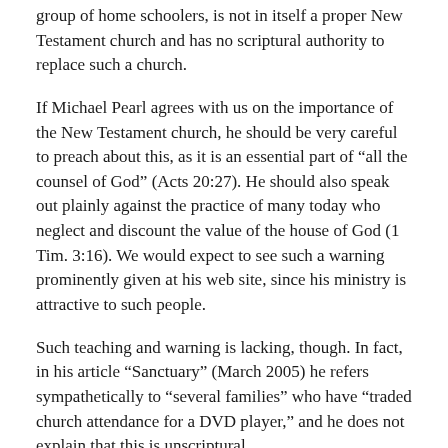group of home schoolers, is not in itself a proper New Testament church and has no scriptural authority to replace such a church.
If Michael Pearl agrees with us on the importance of the New Testament church, he should be very careful to preach about this, as it is an essential part of “all the counsel of God” (Acts 20:27). He should also speak out plainly against the practice of many today who neglect and discount the value of the house of God (1 Tim. 3:16). We would expect to see such a warning prominently given at his web site, since his ministry is attractive to such people.
Such teaching and warning is lacking, though. In fact, in his article “Sanctuary” (March 2005) he refers sympathetically to “several families” who have “traded church attendance for a DVD player,” and he does not explain that this is unscriptural.
Pearl complains that “church today is not a sanctuary from the world nor is it a ‘holy’ place.”
While I agree that too many churches are worldly from top to bottom, meaning that even the leaders and workers are worldly, it is equally true that a scriptural New Testament